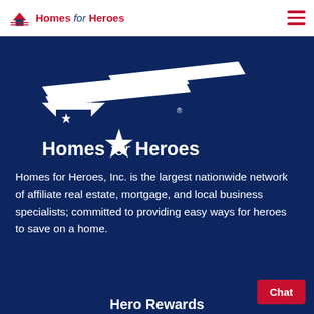Homes for Heroes
[Figure (logo): Homes for Heroes large white logo on dark navy background — stylized house with stars and diagonal stripes, text 'Homes for Heroes' below]
Homes for Heroes, Inc. is the largest nationwide network of affiliate real estate, mortgage, and local business specialists; committed to providing easy ways for heroes to save on a home.
Chat
Hero Rewards